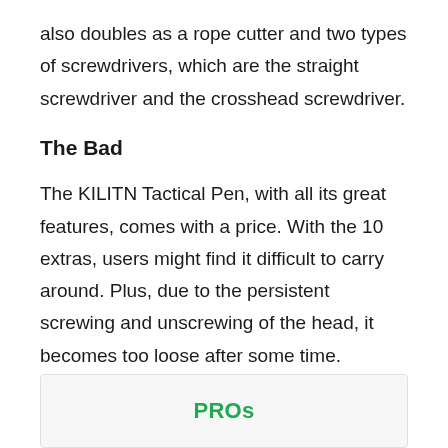also doubles as a rope cutter and two types of screwdrivers, which are the straight screwdriver and the crosshead screwdriver.
The Bad
The KILITN Tactical Pen, with all its great features, comes with a price. With the 10 extras, users might find it difficult to carry around. Plus, due to the persistent screwing and unscrewing of the head, it becomes too loose after some time.
PROs